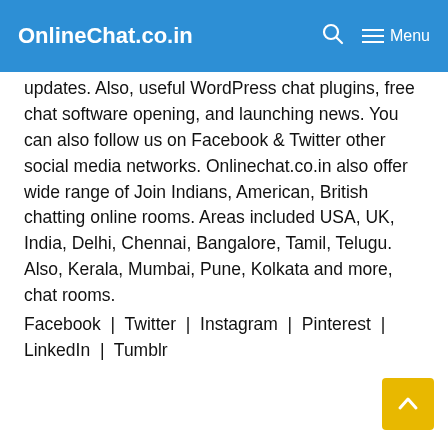OnlineChat.co.in   🔍   ≡ Menu
updates. Also, useful WordPress chat plugins, free chat software opening, and launching news. You can also follow us on Facebook & Twitter other social media networks. Onlinechat.co.in also offer wide range of Join Indians, American, British chatting online rooms. Areas included USA, UK, India, Delhi, Chennai, Bangalore, Tamil, Telugu. Also, Kerala, Mumbai, Pune, Kolkata and more, chat rooms.
Facebook | Twitter | Instagram | Pinterest | LinkedIn | Tumblr